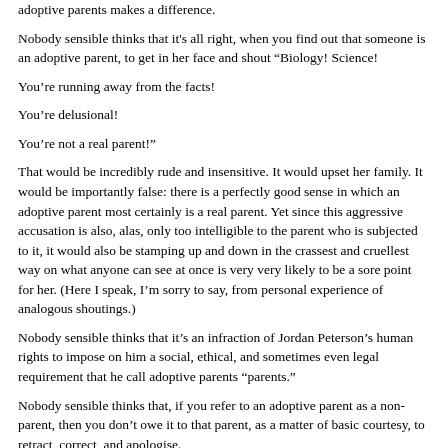adoptive parents makes a difference.
Nobody sensible thinks that it's all right, when you find out that someone is an adoptive parent, to get in her face and shout “Biology! Science!
You’re running away from the facts!
You’re delusional!
You’re not a real parent!”
That would be incredibly rude and insensitive. It would upset her family. It would be importantly false: there is a perfectly good sense in which an adoptive parent most certainly is a real parent. Yet since this aggressive accusation is also, alas, only too intelligible to the parent who is subjected to it, it would also be stamping up and down in the crassest and cruellest way on what anyone can see at once is very very likely to be a sore point for her. (Here I speak, I’m sorry to say, from personal experience of analogous shoutings.)
Nobody sensible thinks that it’s an infraction of Jordan Peterson’s human rights to impose on him a social, ethical, and sometimes even legal requirement that he call adoptive parents “parents.”
Nobody sensible thinks that, if you refer to an adoptive parent as a non-parent, then you don’t owe it to that parent, as a matter of basic courtesy, to retract, correct, and apologise.
Nobody sensible thinks that the existence of adoptive parents undermines our understanding of what it is to be a parent. On the contrary, it extends it.